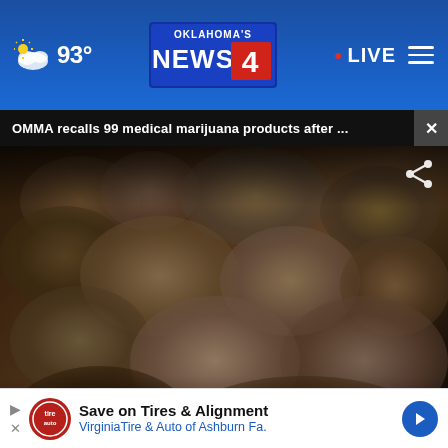Oklahoma's News 4 | 93° | LIVE
OMMA recalls 99 medical marijuana products after ...
[Figure (screenshot): Close-up photo of marijuana buds/flower inside a container, with a news lower-third banner reading 'DOZENS OF MEDICAL MARIJUANA PRODUCTS RECALLED' with Oklahoma's News 4 logo and 4infor.com watermark.]
story.
Save on Tires & Alignment
VirginiaTire & Auto of Ashburn Fa.